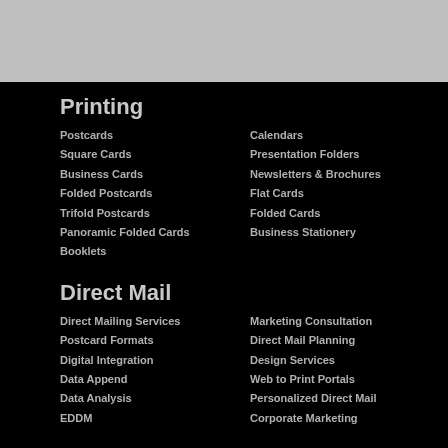[Figure (other): Gray top bar/header area]
Printing
Postcards
Square Cards
Business Cards
Folded Postcards
Trifold Postcards
Panoramic Folded Cards
Booklets
Calendars
Presentation Folders
Newsletters & Brochures
Flat Cards
Folded Cards
Business Stationery
Direct Mail
Direct Mailing Services
Postcard Formats
Digital Integration
Data Append
Data Analysis
EDDM
Marketing Consultation
Direct Mail Planning
Design Services
Web to Print Portals
Personalized Direct Mail
Corporate Marketing